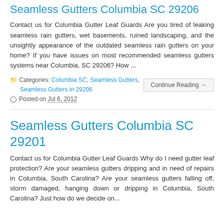Seamless Gutters Columbia SC 29206
Contact us for Columbia Gutter Leaf Guards Are you tired of leaking seamless rain gutters, wet basements, ruined landscaping, and the unsightly appearance of the outdated seamless rain gutters on your home? If you have issues on most recommended seamless gutters systems near Columbia, SC 29206? How ...
Categories: Columbia SC, Seamless Gutters, Seamless Gutters in 29206
Posted on Jul 6, 2012
Seamless Gutters Columbia SC 29201
Contact us for Columbia Gutter Leaf Guards Why do I need gutter leaf protection? Are your seamless gutters dripping and in need of repairs in Columbia, South Carolina? Are your seamless gutters falling off, storm damaged, hanging down or dripping in Columbia, South Carolina? Just how do we decide on...